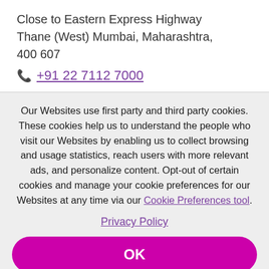Close to Eastern Express Highway Thane (West) Mumbai, Maharashtra, 400 607
+91 22 7112 7000
Our Websites use first party and third party cookies. These cookies help us to understand the people who visit our Websites by enabling us to collect browsing and usage statistics, reach users with more relevant ads, and personalize content. Opt-out of certain cookies and manage your cookie preferences for our Websites at any time via our Cookie Preferences tool.
Privacy Policy
OK